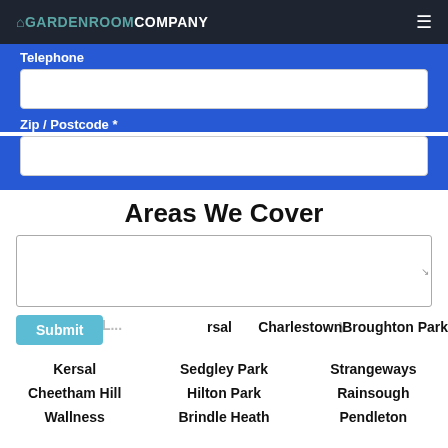GARDENROOMCOMPANY
Telephone
Zip / Postcode *
Areas We Cover
Submit
L... rsal    Charlestown    Broughton Park
Kersal    Sedgley Park    Strangeways
Cheetham Hill    Hilton Park    Rainsough
Wallness    Brindle Heath    Pendleton